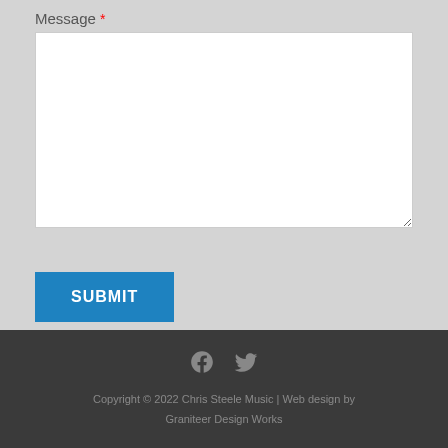Message *
[Figure (screenshot): Empty white textarea input box for message field]
SUBMIT
Copyright © 2022 Chris Steele Music | Web design by Graniteer Design Works